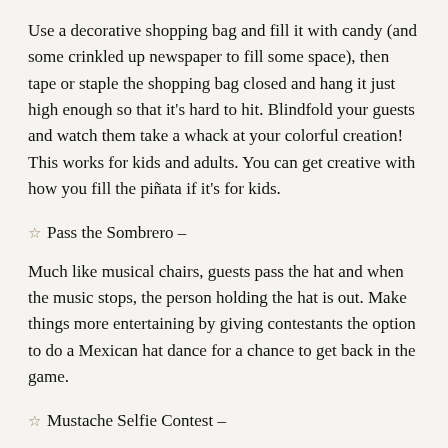Use a decorative shopping bag and fill it with candy (and some crinkled up newspaper to fill some space), then tape or staple the shopping bag closed and hang it just high enough so that it’s hard to hit. Blindfold your guests and watch them take a whack at your colorful creation! This works for kids and adults. You can get creative with how you fill the piñata if it’s for kids.
★ Pass the Sombrero –
Much like musical chairs, guests pass the hat and when the music stops, the person holding the hat is out. Make things more entertaining by giving contestants the option to do a Mexican hat dance for a chance to get back in the game.
★ Mustache Selfie Contest –
Buy packs of different kinds of stick-on mustaches and have guests